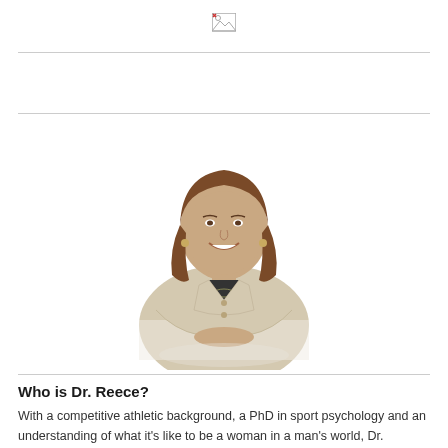[Figure (logo): Small broken image icon / placeholder logo at top center of page]
[Figure (photo): Professional headshot of Dr. Reece, a woman with long brown hair wearing a beige/cream blazer, seated at a table with hands folded, smiling at camera against white background]
Who is Dr. Reece?
With a competitive athletic background, a PhD in sport psychology and an understanding of what it's like to be a woman in a man's world, Dr.